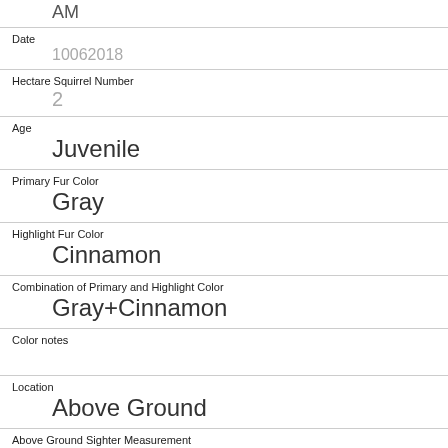AM
Date
10062018
Hectare Squirrel Number
2
Age
Juvenile
Primary Fur Color
Gray
Highlight Fur Color
Cinnamon
Combination of Primary and Highlight Color
Gray+Cinnamon
Color notes
Location
Above Ground
Above Ground Sighter Measurement
Specific Location
High in a tree